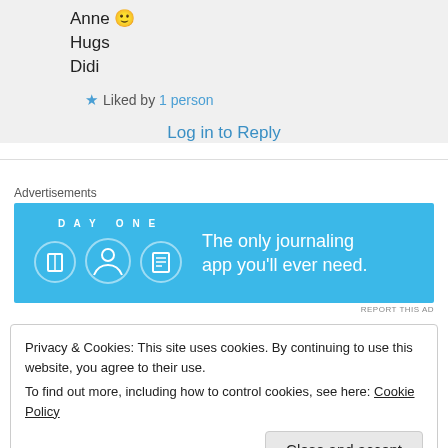Anne 🙂
Hugs
Didi
★ Liked by 1 person
Log in to Reply
Advertisements
[Figure (illustration): DAY ONE journaling app advertisement banner with blue background, app icons, and text 'The only journaling app you'll ever need.']
REPORT THIS AD
Privacy & Cookies: This site uses cookies. By continuing to use this website, you agree to their use.
To find out more, including how to control cookies, see here: Cookie Policy
Close and accept